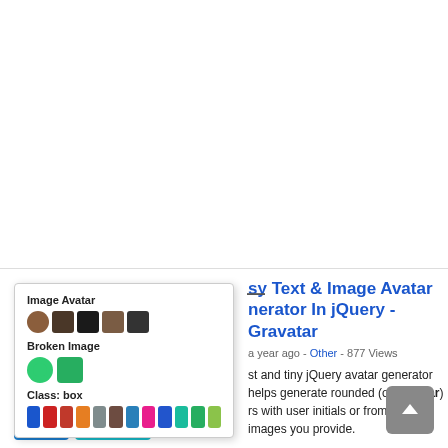[Figure (screenshot): Top white blank area of a web page screenshot]
[Figure (screenshot): Popup card showing Image Avatar examples with colored circles and squares, Broken Image examples, and Class: box color swatches]
sy Text & Image Avatar nerator In jQuery - Gravatar
a year ago - Other - 877 Views
st and tiny jQuery avatar generator helps generate rounded (or circular) rs with user initials or from any images you provide.
[Figure (screenshot): Gray scroll-to-top button with upward arrow]